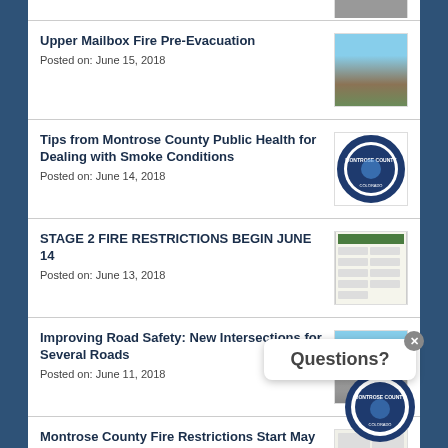Upper Mailbox Fire Pre-Evacuation
Posted on: June 15, 2018
Tips from Montrose County Public Health for Dealing with Smoke Conditions
Posted on: June 14, 2018
STAGE 2 FIRE RESTRICTIONS BEGIN JUNE 14
Posted on: June 13, 2018
Improving Road Safety: New Intersections for Several Roads
Posted on: June 11, 2018
Montrose County Fire Restrictions Start May 21
Posted on: May 18, 2018